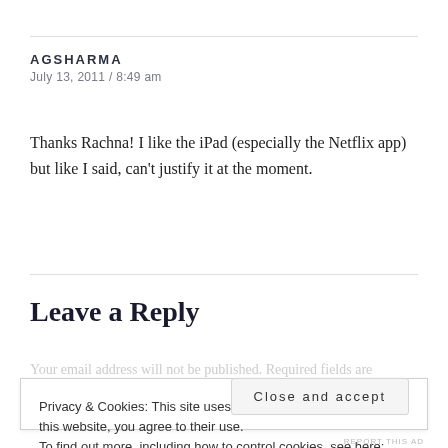AGSHARMA
July 13, 2011 / 8:49 am
Thanks Rachna! I like the iPad (especially the Netflix app) but like I said, can't justify it at the moment.
Leave a Reply
Your email address will not be published. Required fields are
Privacy & Cookies: This site uses cookies. By continuing to use this website, you agree to their use.
To find out more, including how to control cookies, see here: Cookie Policy
Close and accept
REPORT THIS AD